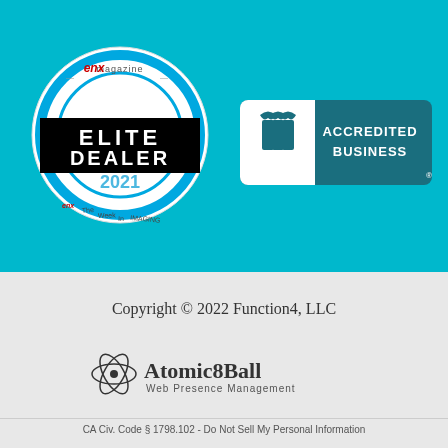[Figure (logo): ENX Magazine Elite Dealer 2021 circular badge with blue ring, black banner reading ELITE DEALER, year 2021 in blue, and ENX The Week In Imaging text around the bottom]
[Figure (logo): BBB Accredited Business badge with teal background, BBB logo on left and ACCREDITED BUSINESS text on right]
Copyright © 2022 Function4, LLC
[Figure (logo): Atomic8Ball Web Presence Management logo with atomic symbol icon]
CA Civ. Code § 1798.102 - Do Not Sell My Personal Information